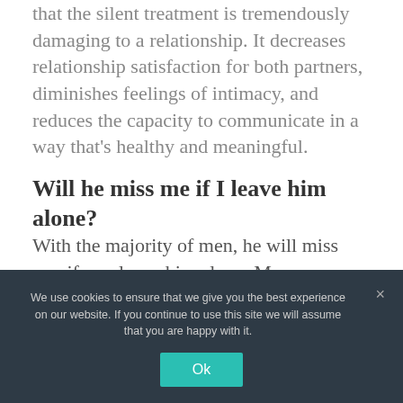that the silent treatment is tremendously damaging to a relationship. It decreases relationship satisfaction for both partners, diminishes feelings of intimacy, and reduces the capacity to communicate in a way that's healthy and meaningful.
Will he miss me if I leave him alone?
With the majority of men, he will miss you if you leave him alone. Men are definitely creatures of habit and when you take away your texts, hugs, kisses, touches and your
We use cookies to ensure that we give you the best experience on our website. If you continue to use this site we will assume that you are happy with it.